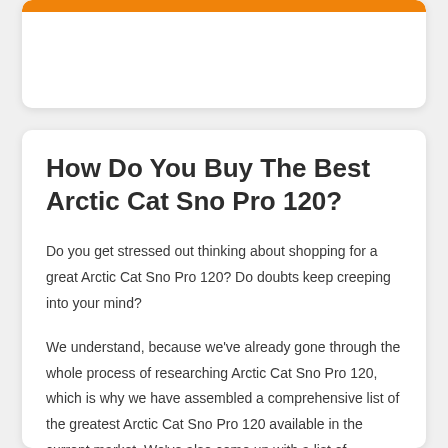How Do You Buy The Best Arctic Cat Sno Pro 120?
Do you get stressed out thinking about shopping for a great Arctic Cat Sno Pro 120? Do doubts keep creeping into your mind?
We understand, because we've already gone through the whole process of researching Arctic Cat Sno Pro 120, which is why we have assembled a comprehensive list of the greatest Arctic Cat Sno Pro 120 available in the current market. We've also come up with a list of